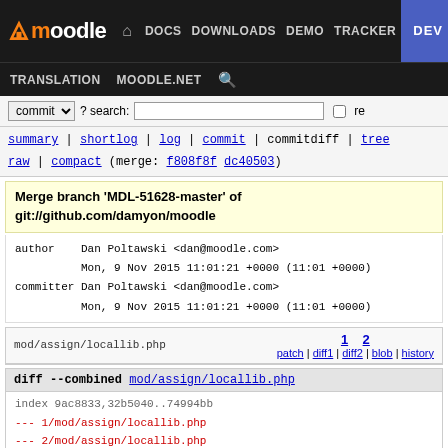moodle | DOCS | DOWNLOADS | DEMO | TRACKER | DEV | TRANSLATION | MOODLE.NET
commit ▼ ? search: [ ] re
summary | shortlog | log | commit | commitdiff | tree
raw | compact (merge: f808f8f dc40503)
Merge branch 'MDL-51628-master' of git://github.com/damyon/moodle
author    Dan Poltawski <dan@moodle.com>
          Mon, 9 Nov 2015 11:01:21 +0000 (11:01 +0000)
committer Dan Poltawski <dan@moodle.com>
          Mon, 9 Nov 2015 11:01:21 +0000 (11:01 +0000)
mod/assign/locallib.php
patch | diff1 | diff2 | blob | history
diff --combined mod/assign/locallib.php
index 9ac8833,32b5040..74994bb
--- 1/mod/assign/locallib.php
--- 2/mod/assign/locallib.php
+++ b/mod/assign/locallib.php